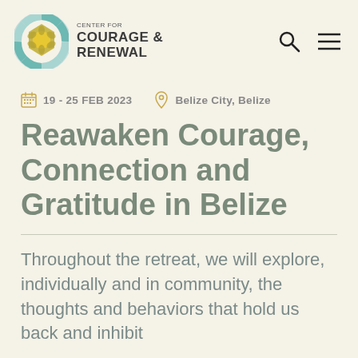CENTER FOR COURAGE & RENEWAL
19 - 25 FEB 2023  Belize City, Belize
Reawaken Courage, Connection and Gratitude in Belize
Throughout the retreat, we will explore, individually and in community, the thoughts and behaviors that hold us back and inhibit